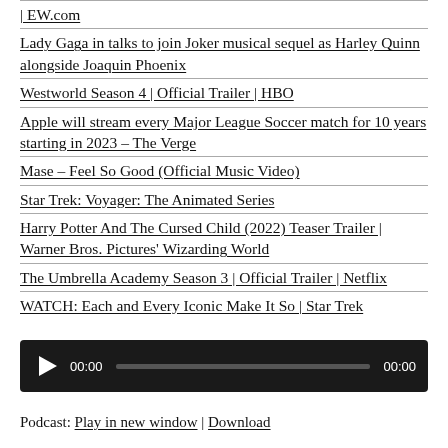| EW.com
Lady Gaga in talks to join Joker musical sequel as Harley Quinn alongside Joaquin Phoenix
Westworld Season 4 | Official Trailer | HBO
Apple will stream every Major League Soccer match for 10 years starting in 2023 – The Verge
Mase – Feel So Good (Official Music Video)
Star Trek: Voyager: The Animated Series
Harry Potter And The Cursed Child (2022) Teaser Trailer | Warner Bros. Pictures' Wizarding World
The Umbrella Academy Season 3 | Official Trailer | Netflix
WATCH: Each and Every Iconic Make It So | Star Trek
[Figure (other): Audio player widget with play button, time display 00:00, progress bar, and end time 00:00 on dark background]
Podcast: Play in new window | Download